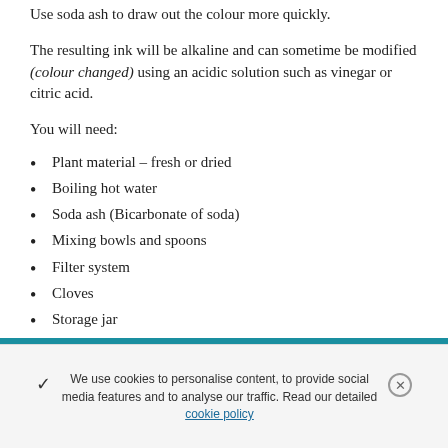Use soda ash to draw out the colour more quickly.
The resulting ink will be alkaline and can sometime be modified (colour changed) using an acidic solution such as vinegar or citric acid.
You will need:
Plant material – fresh or dried
Boiling hot water
Soda ash (Bicarbonate of soda)
Mixing bowls and spoons
Filter system
Cloves
Storage jar
Face mask, gloves, apron:
We use cookies to personalise content, to provide social media features and to analyse our traffic. Read our detailed cookie policy